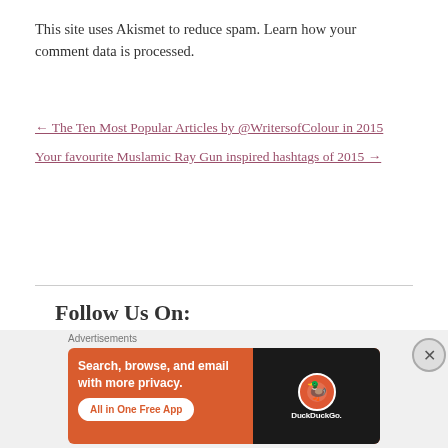This site uses Akismet to reduce spam. Learn how your comment data is processed.
← The Ten Most Popular Articles by @WritersofColour in 2015
Your favourite Muslamic Ray Gun inspired hashtags of 2015 →
Follow Us On:
[Figure (screenshot): DuckDuckGo advertisement banner: orange background with text 'Search, browse, and email with more privacy. All in One Free App' and a phone showing the DuckDuckGo app]